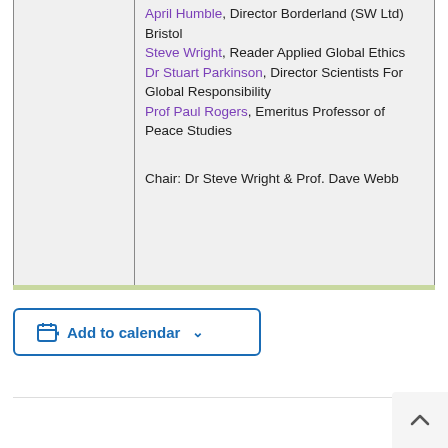April Humble, Director Borderland (SW Ltd) Bristol
Steve Wright, Reader Applied Global Ethics
Dr Stuart Parkinson, Director Scientists For Global Responsibility
Prof Paul Rogers, Emeritus Professor of Peace Studies

Chair: Dr Steve Wright & Prof. Dave Webb
Add to calendar